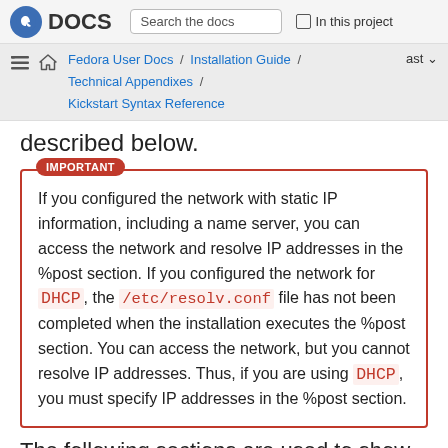DOCS | Search the docs | In this project
Fedora User Docs / Installation Guide / Technical Appendixes / ast  Kickstart Syntax Reference
described below.
IMPORTANT
If you configured the network with static IP information, including a name server, you can access the network and resolve IP addresses in the %post section. If you configured the network for DHCP, the /etc/resolv.conf file has not been completed when the installation executes the %post section. You can access the network, but you cannot resolve IP addresses. Thus, if you are using DHCP, you must specify IP addresses in the %post section.
The following sections are...